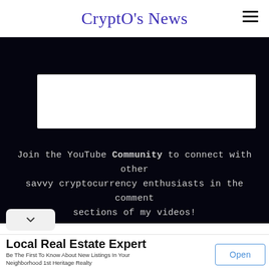CryptO's News
[Figure (screenshot): Dark banner with white box at top and centered text: Join the YouTube Community to connect with other savvy cryptocurrency enthusiasts in the comment sections of my videos!]
Join the YouTube Community to connect with other savvy cryptocurrency enthusiasts in the comment sections of my videos!
[Figure (infographic): Advertisement banner: Local Real Estate Expert - Be The First To Know About New Listings In Your Neighborhood 1st Heritage Realty, with an Open button]